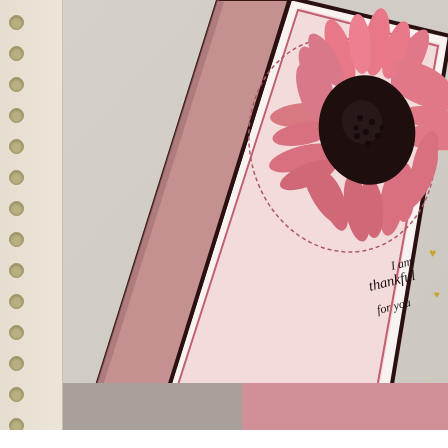[Figure (photo): A handmade greeting card displayed upright (tent-fold style) on a light gray surface. The card features a pink and dark brown color scheme with a large pink sunflower stamped on white cardstock. Text on the card reads 'I am thankful for you' in cursive script with small gold heart accents. The card has a dark brown/chocolate chip border.]
On the inside, I stamped the second sentiment fro... Chocolate Chip in the middle of a Whisper White p... Flirty Flamingo and Powder Pink sunflower.  I like... sentiment ended up sort of spot-lighted by the ope...
[Figure (photo): Partial view of a second photo showing pink and gray craft paper/card materials, likely the inside of the card or additional card components.]